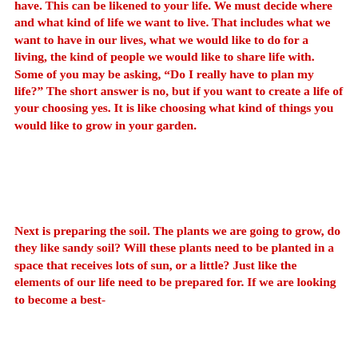have. This can be likened to your life. We must decide where and what kind of life we want to live. That includes what we want to have in our lives, what we would like to do for a living, the kind of people we would like to share life with. Some of you may be asking, “Do I really have to plan my life?” The short answer is no, but if you want to create a life of your choosing yes. It is like choosing what kind of things you would like to grow in your garden.
Next is preparing the soil. The plants we are going to grow, do they like sandy soil? Will these plants need to be planted in a space that receives lots of sun, or a little? Just like the elements of our life need to be prepared for. If we are looking to become a best-